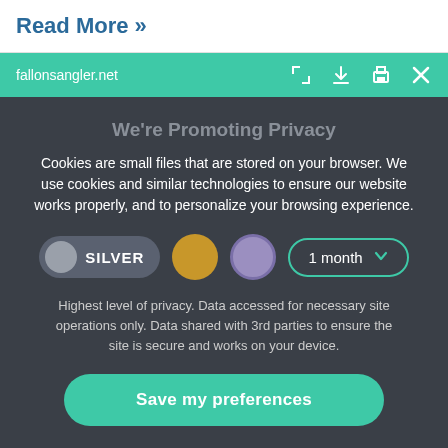Read More »
fallonsangler.net
We're Promoting Privacy
Cookies are small files that are stored on your browser. We use cookies and similar technologies to ensure our website works properly, and to personalize your browsing experience.
SILVER | 1 month
Highest level of privacy. Data accessed for necessary site operations only. Data shared with 3rd parties to ensure the site is secure and works on your device.
Save my preferences
Preferences | Privacy policy